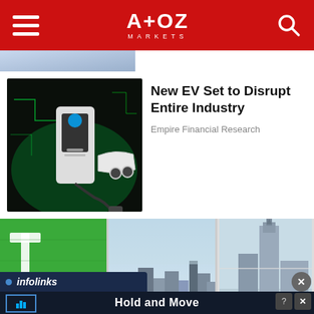A+OZ MARKETS
[Figure (screenshot): Partial cropped image strip at top of content, showing blue/purple tones, partially visible]
[Figure (photo): EV charging station with green light effects, white electric car in background]
New EV Set to Disrupt Entire Industry
Empire Financial Research
[Figure (photo): Multi-panel panoramic photo showing TradingView/financial company office interior with green branded wall, NYC skyline with Empire State Building visible through large windows]
[Figure (screenshot): Infolinks advertisement bar overlay]
[Figure (screenshot): Hold and Move advertisement overlay with dark background and trading chart UI]